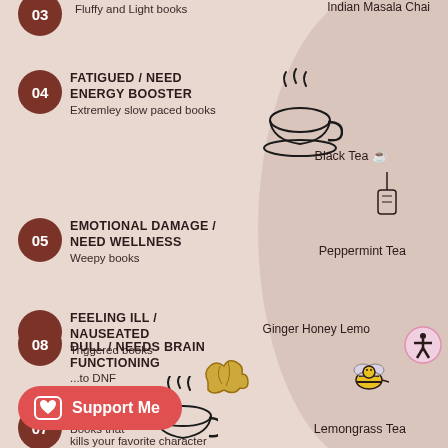[Figure (infographic): Infographic page showing moods/reading states paired with tea recommendations. Items 03-08 visible. Background has a wavy blob shape on the right.]
03 - Fluffy and Light books / Indian Masala Chai
04 - FATIGUED / NEED ENERGY BOOSTER - Extremley slow paced books / Black Tea
05 - EMOTIONAL DAMAGE / NEED WELLNESS - Weepy books / Peppermint Tea
06 - FEELING ILL / NAUSEATED - Triggered books / Ginger Honey Lemon
07 - DEPRESSED - Books that kills your favorite character / Lemongrass Tea
08 - DULL / NEEDS BRAIN FUNCTIONING - ...to DNF / Minty Iced Tea
Support Me